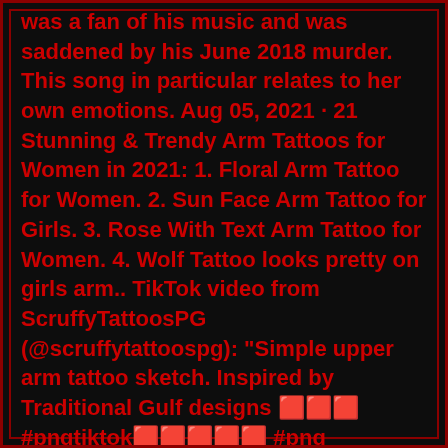was a fan of his music and was saddened by his June 2018 murder. This song in particular relates to her own emotions. Aug 05, 2021 · 21 Stunning & Trendy Arm Tattoos for Women in 2021: 1. Floral Arm Tattoo for Women. 2. Sun Face Arm Tattoo for Girls. 3. Rose With Text Arm Tattoo for Women. 4. Wolf Tattoo looks pretty on girls arm.. TikTok video from ScruffyTattoosPG (@scruffytattoospg): "Simple upper arm tattoo sketch. Inspired by Traditional Gulf designs 🟥🟥🟥#pngtiktok🟥🟥🟥🟥🟥 #png #tattoodesignideas #sketch". original sound. Jun 07, 2022 · 10 Tattoo Ideas for Women's Upper Arm. If you're looking for women's tattoo ideas that work on your upper arm only, these 10 designs will be perfect for you. Generally, tattoos on the upper arm are placed on the outside of the arm, often above the elbow. You can get a tattoo on the inside of your arm, but this can be quite painful!. It would be very sexy when a tattoo is sitting there. Here are 101 pretty back of neck tattoos, which include cross tattoo on back of neck, butterfly tattoo on back of neck, feather tattoo on back of neck, bow tattoo on back of neck,